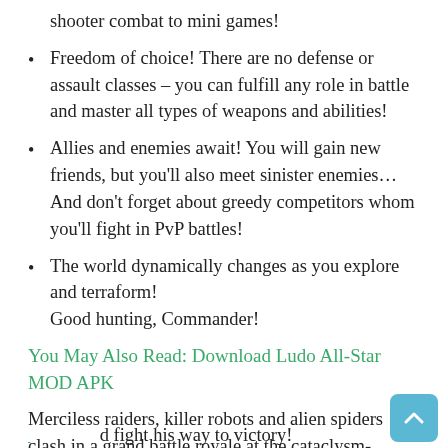shooter combat to mini games!
Freedom of choice! There are no defense or assault classes – you can fulfill any role in battle and master all types of weapons and abilities!
Allies and enemies await! You will gain new friends, but you'll also meet sinister enemies… And don't forget about greedy competitors whom you'll fight in PvP battles!
The world dynamically changes as you explore and terraform!
Good hunting, Commander!
You May Also Read: Download Ludo All-Star MOD APK
Merciless raiders, killer robots and alien spiders clash in a grand battle royale at the cataclysm-scorched plains of planet Utopia! It's time for our hero, the
d fight his way to victory!